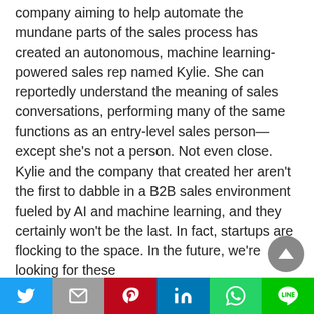company aiming to help automate the mundane parts of the sales process has created an autonomous, machine learning-powered sales rep named Kylie. She can reportedly understand the meaning of sales conversations, performing many of the same functions as an entry-level sales person—except she's not a person. Not even close.

Kylie and the company that created her aren't the first to dabble in a B2B sales environment fueled by AI and machine learning, and they certainly won't be the last. In fact, startups are flocking to the space. In the future, we're looking for these
[Figure (other): Scroll-to-top button, circular grey arrow pointing up]
Social share bar with Twitter, Mail, Pinterest, LinkedIn, WhatsApp, LINE icons